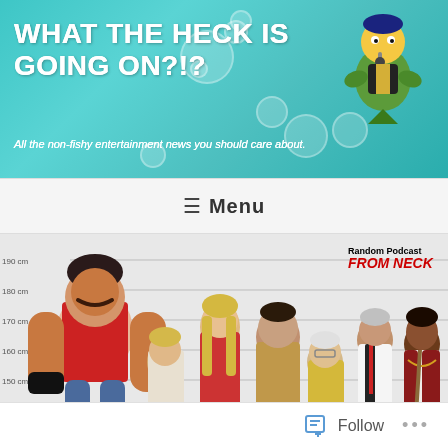WHAT THE HECK IS GOING ON?!?
All the non-fishy entertainment news you should care about.
≡ Menu
[Figure (illustration): Promotional image for Netflix animated series Super Crooks (Episode 223), showing a police lineup-style image with height markers from 120cm to 190cm, featuring multiple animated characters. A 'Random Podcast FROM NECK' badge is in the top right corner.]
Follow ...